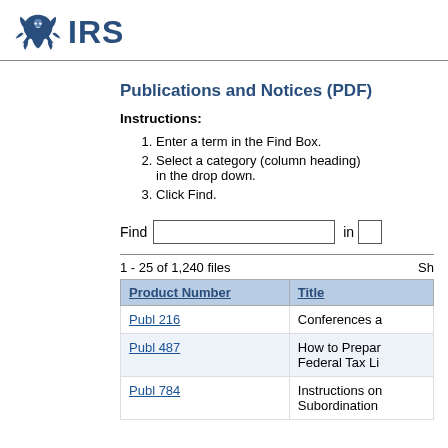IRS
Publications and Notices (PDF)
Instructions:
Enter a term in the Find Box.
Select a category (column heading) in the drop down.
Click Find.
Find [input box] in [dropdown]
1 - 25 of 1,240 files   She
| Product Number | Title |
| --- | --- |
| Publ 216 | Conferences a |
| Publ 487 | How to Prepar Federal Tax Li |
| Publ 784 | Instructions on Subordination |